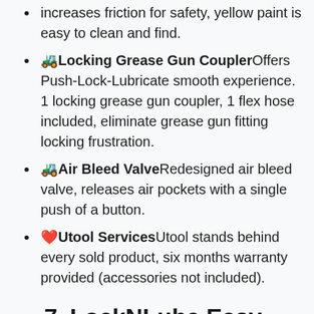increases friction for safety, yellow paint is easy to clean and find.
🚜 Locking Grease Gun Coupler Offers Push-Lock-Lubricate smooth experience. 1 locking grease gun coupler, 1 flex hose included, eliminate grease gun fitting locking frustration.
🚜 Air Bleed Valve Redesigned air bleed valve, releases air pockets with a single push of a button.
❤️ Utool Services Utool stands behind every sold product, six months warranty provided (accessories not included).
7   LockNLube Easy-Prime Pistol-Grip Grease Gun. Includes